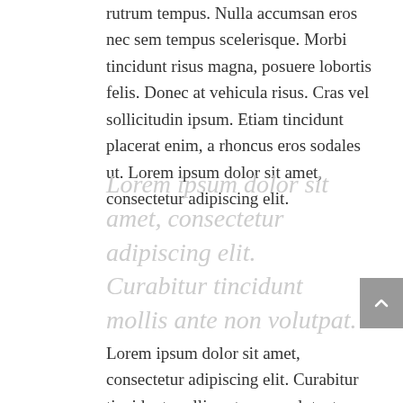rutrum tempus. Nulla accumsan eros nec sem tempus scelerisque. Morbi tincidunt risus magna, posuere lobortis felis. Donec at vehicula risus. Cras vel sollicitudin ipsum. Etiam tincidunt placerat enim, a rhoncus eros sodales ut. Lorem ipsum dolor sit amet, consectetur adipiscing elit.
Lorem ipsum dolor sit amet, consectetur adipiscing elit. Curabitur tincidunt mollis ante non volutpat.
Lorem ipsum dolor sit amet, consectetur adipiscing elit. Curabitur tincidunt mollis ante non volutpat. Nam consequat diam nec leo rutrum tempus. Nulla accumsan eros nec sem